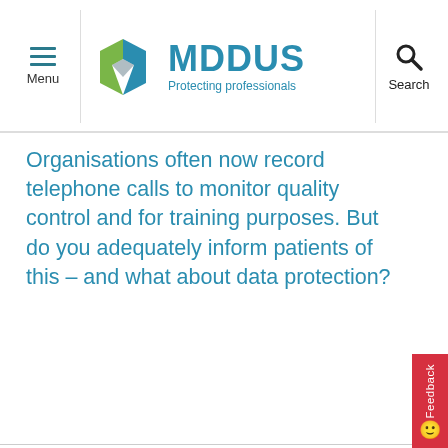Menu | MDDUS Protecting professionals | Search
Organisations often now record telephone calls to monitor quality control and for training purposes. But do you adequately inform patients of this – and what about data protection?
This website stores cookies on your computer. These cookies are used to collect information about how you interact with our website and allow us to remember you. We use this information in order to improve and customize your browsing experience and for analytics and metrics about our visitors both on this website and other media. To find out more about the cookies we use, see our Privacy Notice. For more information on cookies and how to manage, delete and disable them please visit https://www.allaboutcookies.org/
Accept